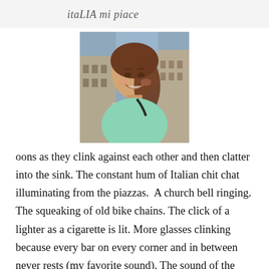itaLIA mi piace
[Figure (photo): A young woman smiling, taking a selfie in an Italian piazza with historic buildings visible in the background. She is wearing a mint green top.]
oons as they clink against each other and then clatter into the sink. The constant hum of Italian chit chat illuminating from the piazzas.  A church bell ringing. The squeaking of old bike chains. The click of a lighter as a cigarette is lit. More glasses clinking because every bar on every corner and in between never rests (my favorite sound). The sound of the metal protection door of a